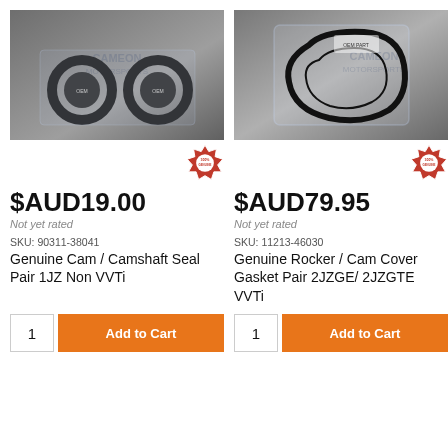[Figure (photo): Product photo of Genuine Cam / Camshaft Seal Pair 1JZ Non VVTi with 100% Genuine badge]
$AUD19.00
Not yet rated
SKU: 90311-38041
Genuine Cam / Camshaft Seal Pair 1JZ Non VVTi
[Figure (photo): Product photo of Genuine Rocker / Cam Cover Gasket Pair 2JZGE/ 2JZGTE VVTi with 100% Genuine badge]
$AUD79.95
Not yet rated
SKU: 11213-46030
Genuine Rocker / Cam Cover Gasket Pair 2JZGE/ 2JZGTE VVTi